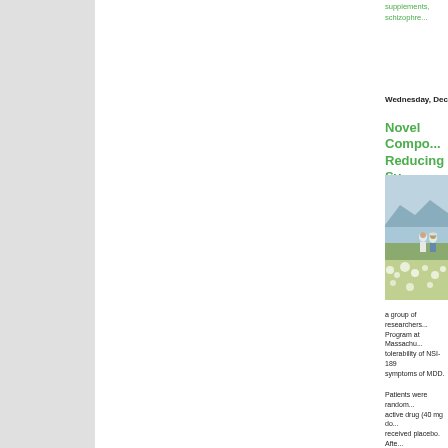supplements, schizophre...
Wednesday, December 9
Novel Compo... Reducing Sy...
[Figure (photo): Two people standing in a field of white flowers with a lake and mountains in the background]
a group of researchers... Program at Massachu... tolerability of NSI-189... symptoms of MDD.
Patients were random... active drug (40 mg do... received placebo. Afte...